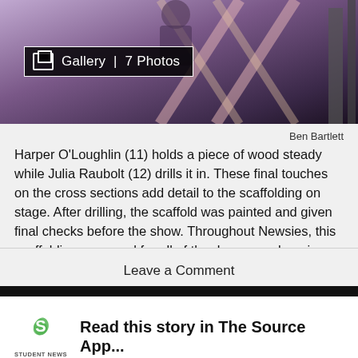[Figure (photo): Photo of students working on stage scaffolding, with a gallery badge overlay reading 'Gallery | 7 Photos']
Ben Bartlett
Harper O'Loughlin (11) holds a piece of wood steady while Julia Raubolt (12) drills it in. These final touches on the cross sections add detail to the scaffolding on stage. After drilling, the scaffold was painted and given final checks before the show. Throughout Newsies, this scaffolding was used for all of the dance numbers in addition to its frequency in helping to make the sets. These sets are built during Mr.Pike's fifth period stagecraft class at SJHHS.
Leave a Comment
Read this story in The Source App...
Open App
Continue in browser